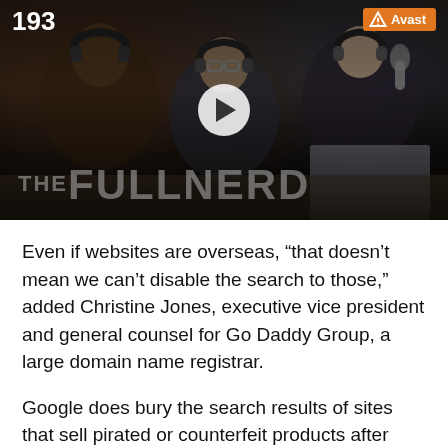[Figure (screenshot): Thumbnail for 'The Full Nerd' podcast episode 193, showing three people with headphones in a studio setting. A play button is visible in the center. Episode number '193' is in the top-left, Avast logo/badge in top-right. 'THE FULL NERD' text appears large at the bottom in gray.]
Even if websites are overseas, “that doesn’t mean we can’t disable the search to those,” added Christine Jones, executive vice president and general counsel for Go Daddy Group, a large domain name registrar.
Google does bury the search results of sites that sell pirated or counterfeit products after complaints from copyright holders, said Kent Walker, senior